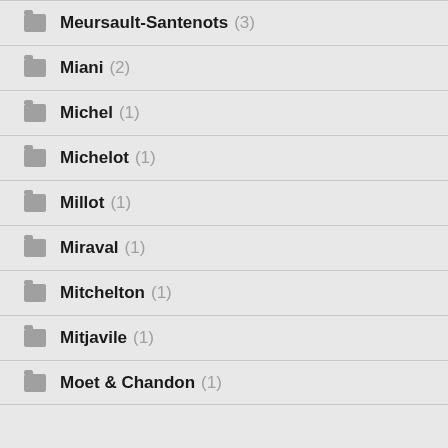Meursault-Santenots (3)
Miani (2)
Michel (1)
Michelot (1)
Millot (1)
Miraval (1)
Mitchelton (1)
Mitjavile (1)
Moet & Chandon (1)